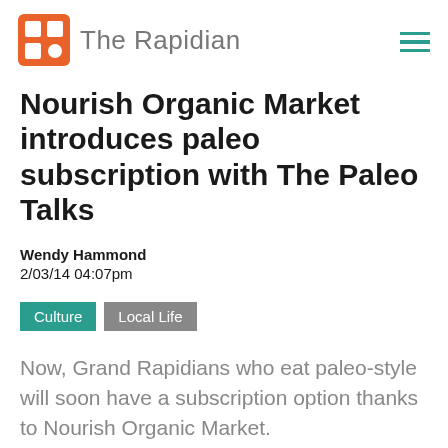The Rapidian
Nourish Organic Market introduces paleo subscription with The Paleo Talks
Wendy Hammond
2/03/14 04:07pm
Culture   Local Life
Now, Grand Rapidians who eat paleo-style will soon have a subscription option thanks to Nourish Organic Market.